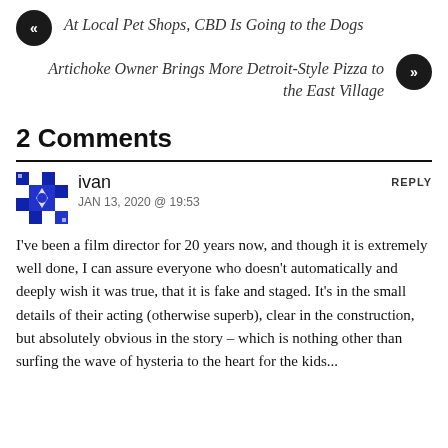« At Local Pet Shops, CBD Is Going to the Dogs
Artichoke Owner Brings More Detroit-Style Pizza to the East Village »
2 Comments
ivan
JAN 13, 2020 @ 19:53
I've been a film director for 20 years now, and though it is extremely well done, I can assure everyone who doesn't automatically and deeply wish it was true, that it is fake and staged. It's in the small details of their acting (otherwise superb), clear in the construction, but absolutely obvious in the story – which is nothing other than surfing the wave of hysteria to the heart for the kids...